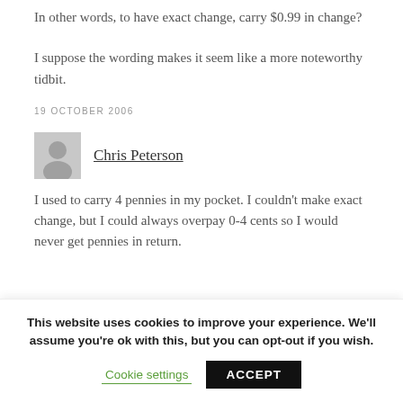In other words, to have exact change, carry $0.99 in change?
I suppose the wording makes it seem like a more noteworthy tidbit.
19 OCTOBER 2006
Chris Peterson
I used to carry 4 pennies in my pocket. I couldn't make exact change, but I could always overpay 0-4 cents so I would never get pennies in return.
This website uses cookies to improve your experience. We'll assume you're ok with this, but you can opt-out if you wish.
Cookie settings
ACCEPT